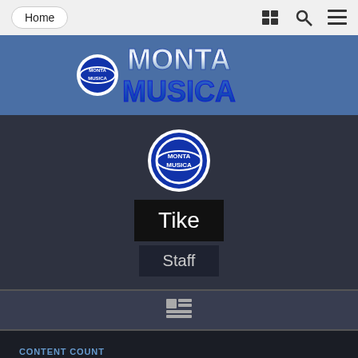Home
[Figure (logo): Monta Musica logo with metallic blue 3D text on blue banner background]
[Figure (photo): Circular avatar/profile picture of Monta Musica logo]
Tike
Staff
[Figure (other): Table/grid icon in dark icon bar]
CONTENT COUNT
47
JOINED
January 4, 2020